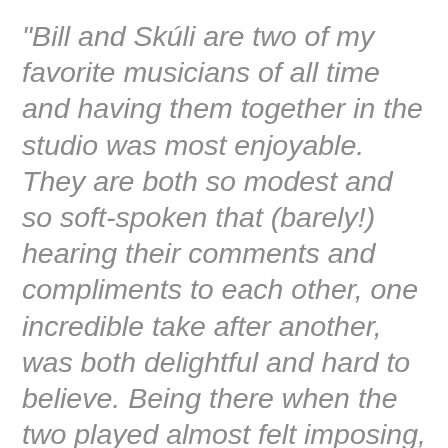“Bill and Skúli are two of my favorite musicians of all time and having them together in the studio was most enjoyable. They are both so modest and so soft-spoken that (barely!) hearing their comments and compliments to each other, one incredible take after another, was both delightful and hard to believe. Being there when the two played almost felt imposing, in a way. It was like a sacred experience only a few lucky ones were allowed to be a part of.”
BE: “Playing alone is so difficult